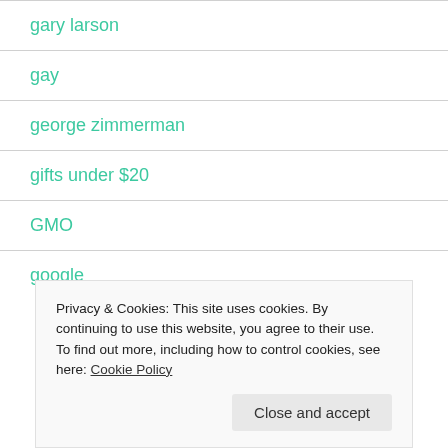gary larson
gay
george zimmerman
gifts under $20
GMO
google
Privacy & Cookies: This site uses cookies. By continuing to use this website, you agree to their use.
To find out more, including how to control cookies, see here: Cookie Policy
Close and accept